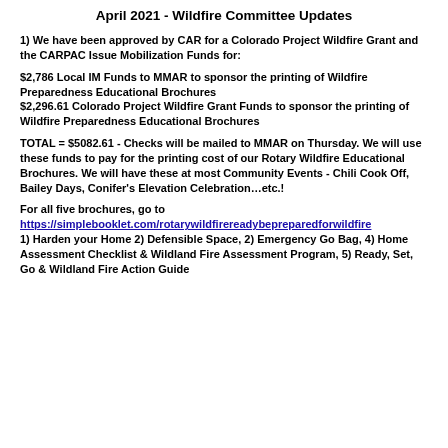April 2021 - Wildfire Committee Updates
1) We have been approved by CAR for a Colorado Project Wildfire Grant and the CARPAC Issue Mobilization Funds for:
$2,786 Local IM Funds to MMAR to sponsor the printing of Wildfire Preparedness Educational Brochures
$2,296.61 Colorado Project Wildfire Grant Funds to sponsor the printing of Wildfire Preparedness Educational Brochures
TOTAL = $5082.61 - Checks will be mailed to MMAR on Thursday. We will use these funds to pay for the printing cost of our Rotary Wildfire Educational Brochures. We will have these at most Community Events - Chili Cook Off, Bailey Days, Conifer's Elevation Celebration...etc.!
For all five brochures, go to https://simplebooklet.com/rotarywildfirereadybepreparedforwildfire
1) Harden your Home 2) Defensible Space, 2) Emergency Go Bag, 4) Home Assessment Checklist & Wildland Fire Assessment Program, 5) Ready, Set, Go & Wildland Fire Action Guide